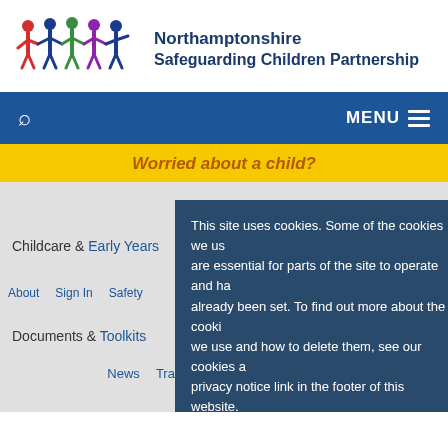[Figure (logo): Northamptonshire Safeguarding Children Partnership logo with colourful children figures holding hands]
Northamptonshire Safeguarding Children Partnership
MENU
Worried about a child?
This site uses cookies. Some of the cookies we use are essential for parts of the site to operate and have already been set. To find out more about the cookies we use and how to delete them, see our cookies and privacy notice link in the footer of this website.
Click to accept cookies
Childcare & Early Years
Documents & Toolkits
News
Training